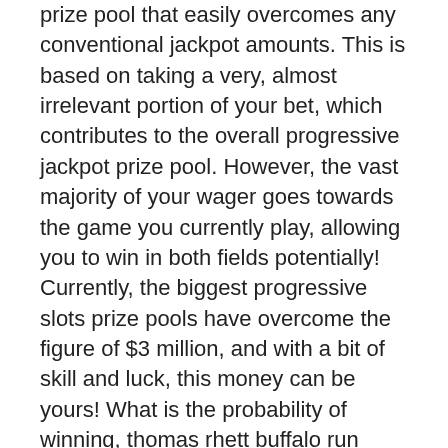prize pool that easily overcomes any conventional jackpot amounts. This is based on taking a very, almost irrelevant portion of your bet, which contributes to the overall progressive jackpot prize pool. However, the vast majority of your wager goes towards the game you currently play, allowing you to win in both fields potentially! Currently, the biggest progressive slots prize pools have overcome the figure of $3 million, and with a bit of skill and luck, this money can be yours! What is the probability of winning, thomas rhett buffalo run casino. I love to play online casino, thomas rhett buffalo run casino. There is also no need to spend hours figuring out the rules, strategies, terms, and bets that other games require, just so that you can play the game, how old is thomas rhett. Find rhett akins best songs, album reviews, biography, credits, awards, and more on allmusic. Play rhett akins on soundcloud and discover followers on